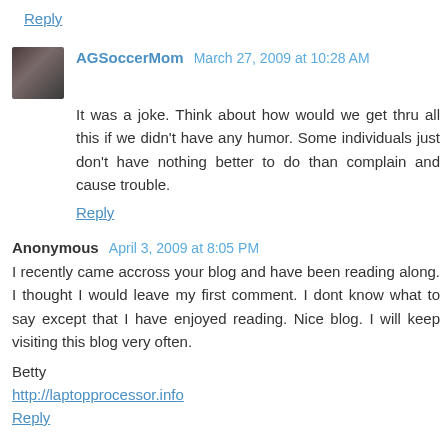Reply
AGSoccerMom  March 27, 2009 at 10:28 AM
It was a joke. Think about how would we get thru all this if we didn't have any humor. Some individuals just don't have nothing better to do than complain and cause trouble.
Reply
Anonymous  April 3, 2009 at 8:05 PM
I recently came accross your blog and have been reading along. I thought I would leave my first comment. I dont know what to say except that I have enjoyed reading. Nice blog. I will keep visiting this blog very often.
Betty
http://laptopprocessor.info
Reply